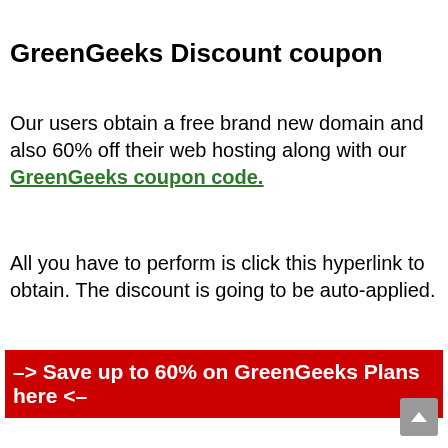GreenGeeks Discount coupon
Our users obtain a free brand new domain and also 60% off their web hosting along with our GreenGeeks coupon code.
All you have to perform is click this hyperlink to obtain. The discount is going to be auto-applied.
–> Save up to 60% on GreenGeeks Plans here <–